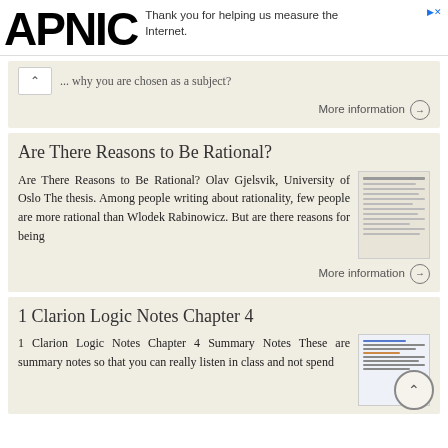APNIC — Thank you for helping us measure the Internet.
... why you are chosen as a subject?
More information →
Are There Reasons to Be Rational?
Are There Reasons to Be Rational? Olav Gjelsvik, University of Oslo The thesis. Among people writing about rationality, few people are more rational than Wlodek Rabinowicz. But are there reasons for being
More information →
1 Clarion Logic Notes Chapter 4
1 Clarion Logic Notes Chapter 4 Summary Notes These are summary notes so that you can really listen in class and not spend